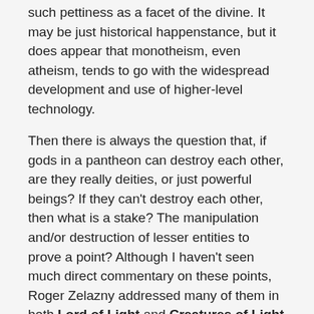such pettiness as a facet of the divine. It may be just historical happenstance, but it does appear that monotheism, even atheism, tends to go with the widespread development and use of higher-level technology.
Then there is always the question that, if gods in a pantheon can destroy each other, are they really deities, or just powerful beings? If they can't destroy each other, then what is a stake? The manipulation and/or destruction of lesser entities to prove a point? Although I haven't seen much direct commentary on these points, Roger Zelazny addressed many of them in both Lord of Light and Creatures of Light and Darkness.
John C. Wright
John C. Wright is the author of The Golden Age Trilogy, The War of the Dreaming, Chronicles of Chaos and the upcoming Null-A Continuum, the authorized sequel of A.E. van Vogt's World of Null-A, and continues that fiction